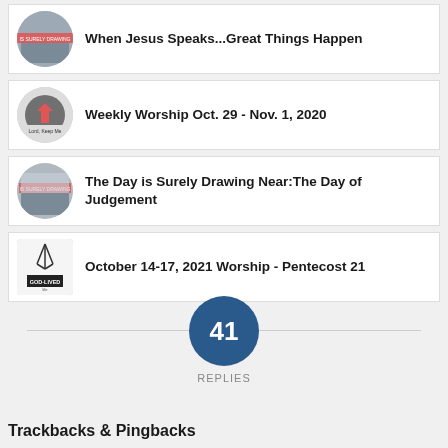When Jesus Speaks...Great Things Happen
Weekly Worship Oct. 29 - Nov. 1, 2020
The Day is Surely Drawing Near:The Day of Judgement
October 14-17, 2021 Worship - Pentecost 21
41 REPLIES
Trackbacks & Pingbacks